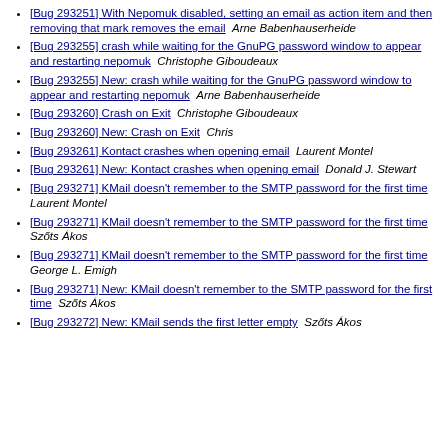[Bug 293251] With Nepomuk disabled, setting an email as action item and then removing that mark removes the email  Arne Babenhauserheide
[Bug 293255] crash while waiting for the GnuPG password window to appear and restarting nepomuk  Christophe Giboudeaux
[Bug 293255] New: crash while waiting for the GnuPG password window to appear and restarting nepomuk  Arne Babenhauserheide
[Bug 293260] Crash on Exit  Christophe Giboudeaux
[Bug 293260] New: Crash on Exit  Chris
[Bug 293261] Kontact crashes when opening email  Laurent Montel
[Bug 293261] New: Kontact crashes when opening email  Donald J. Stewart
[Bug 293271] KMail doesn't remember to the SMTP password for the first time  Laurent Montel
[Bug 293271] KMail doesn't remember to the SMTP password for the first time  Szőts Ákos
[Bug 293271] KMail doesn't remember to the SMTP password for the first time  George L. Emigh
[Bug 293271] New: KMail doesn't remember to the SMTP password for the first time  Szőts Ákos
[Bug 293272] New: KMail sends the first letter empty  Szőts Ákos